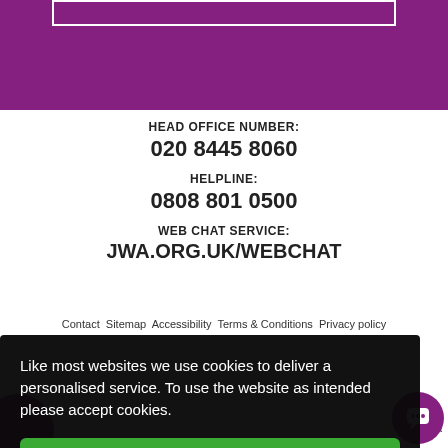[Figure (other): Purple banner bar at top of page with white rectangular outline box at top center]
HEAD OFFICE NUMBER:
020 8445 8060
HELPLINE:
0808 801 0500
WEB CHAT SERVICE:
JWA.ORG.UK/WEBCHAT
Contact Sitemap Accessibility Terms & Conditions Privacy policy
Like most websites we use cookies to deliver a personalised service. To use the website as intended please accept cookies.
Accept Cookies
istered
as a